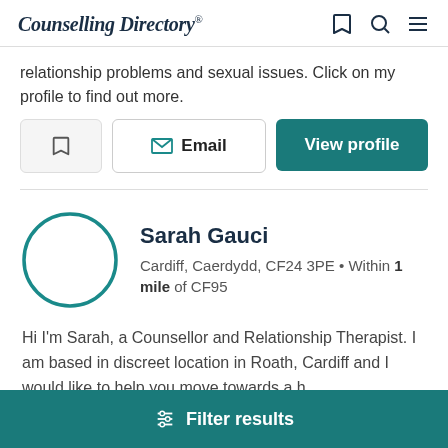Counselling Directory
relationship problems and sexual issues. Click on my profile to find out more.
Sarah Gauci
Cardiff, Caerdydd, CF24 3PE • Within 1 mile of CF95
Hi I'm Sarah, a Counsellor and Relationship Therapist. I am based in discreet location in Roath, Cardiff and I would like to help you move towards a h...
Filter results